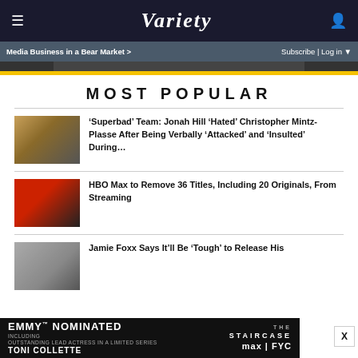VARIETY
Media Business in a Bear Market >    Subscribe | Log in
MOST POPULAR
'Superbad' Team: Jonah Hill 'Hated' Christopher Mintz-Plasse After Being Verbally 'Attacked' and 'Insulted' During...
HBO Max to Remove 36 Titles, Including 20 Originals, From Streaming
Jamie Foxx Says It'll Be 'Tough' to Release His
[Figure (screenshot): Bottom advertisement banner: EMMY NOMINATED including Outstanding Lead Actress in a Limited Series - Toni Collette / THE STAIRCASE max FYC]